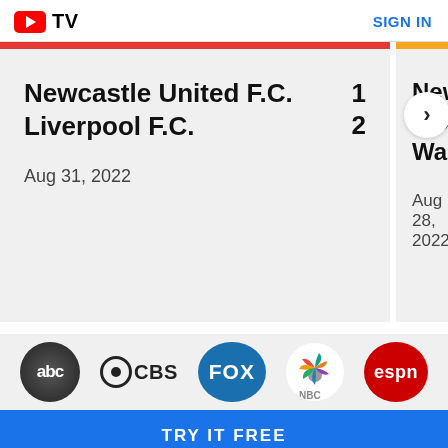[Figure (logo): YouTube TV logo with red play button icon and TV text]
SIGN IN
Newcastle United F.C.    1
Liverpool F.C.    2
Aug 31, 2022
Newcastle
Wolverha-
Wanderer
Aug 28, 2022
[Figure (logo): Channel logos: ABC, CBS, FOX, NBC, ESPN]
TRY IT FREE